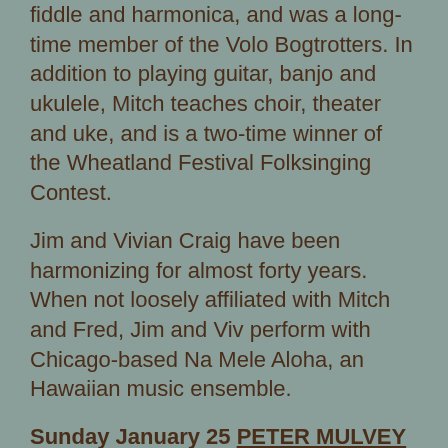fiddle and harmonica, and was a long-time member of the Volo Bogtrotters. In addition to playing guitar, banjo and ukulele, Mitch teaches choir, theater and uke, and is a two-time winner of the Wheatland Festival Folksinging Contest.
Jim and Vivian Craig have been harmonizing for almost forty years. When not loosely affiliated with Mitch and Fred, Jim and Viv perform with Chicago-based Na Mele Aloha, an Hawaiian music ensemble.
Sunday January 25 PETER MULVEY will be basing his one day world tour from the shores of the Cafe Carpe. Note the part about the regular ol' gig. We will open at 4:30 and serving food until 6:30 or 7.
Here's how it goes from the horses's mouth:
ANNOUNCING THE ONE DAY WORLD TOUR. (Please